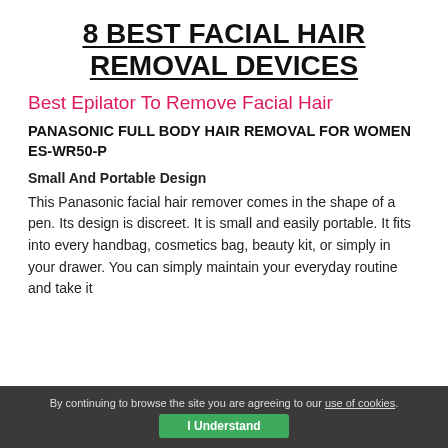8 BEST FACIAL HAIR REMOVAL DEVICES
Best Epilator To Remove Facial Hair
PANASONIC FULL BODY HAIR REMOVAL FOR WOMEN ES-WR50-P
Small And Portable Design
This Panasonic facial hair remover comes in the shape of a pen. Its design is discreet. It is small and easily portable. It fits into every handbag, cosmetics bag, beauty kit, or simply in your drawer. You can simply maintain your everyday routine and take it
By continuing to browse the site you are agreeing to our use of cookies. I Understand